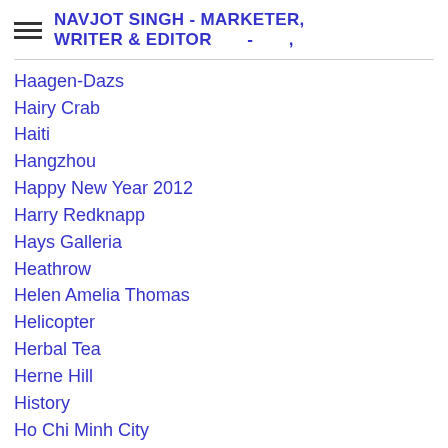NAVJOT SINGH - MARKETER, WRITER & EDITOR - ,
Haagen-Dazs
Hairy Crab
Haiti
Hangzhou
Happy New Year 2012
Harry Redknapp
Hays Galleria
Heathrow
Helen Amelia Thomas
Helicopter
Herbal Tea
Herne Hill
History
Ho Chi Minh City
Holidays
Holland
Hong Kong